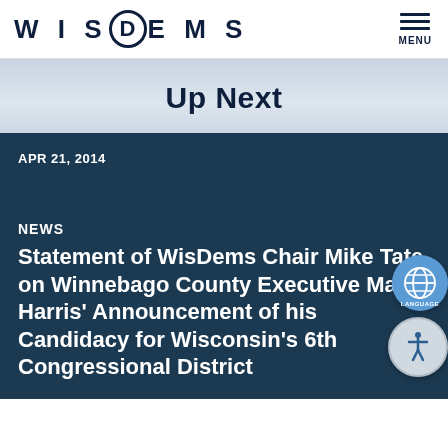WisDems — MENU
Up Next
APR 21, 2014
NEWS
Statement of WisDems Chair Mike Tate on Winnebago County Executive Mark Harris' Announcement of his Candidacy for Wisconsin's 6th Congressional District